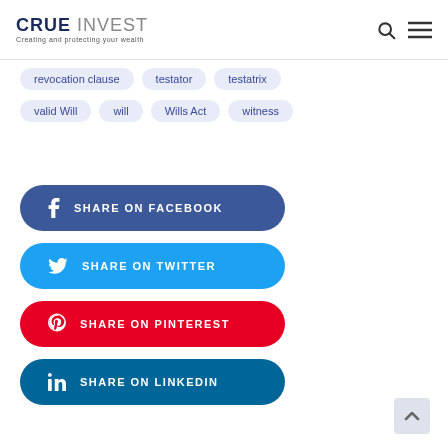CRUE INVEST — Creating and protecting your wealth
revocation clause
testator
testatrix
valid Will
will
Wills Act
witness
SHARE ON FACEBOOK
SHARE ON TWITTER
SHARE ON PINTEREST
SHARE ON LINKEDIN